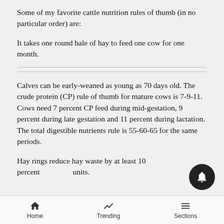Some of my favorite cattle nutrition rules of thumb (in no particular order) are:
It takes one round bale of hay to feed one cow for one month.
Calves can be early-weaned as young as 70 days old. The crude protein (CP) rule of thumb for mature cows is 7-9-11. Cows need 7 percent CP feed during mid-gestation, 9 percent during late gestation and 11 percent during lactation. The total digestible nutrients rule is 55-60-65 for the same periods.
Hay rings reduce hay waste by at least 10 percent units.
Home  Trending  Sections